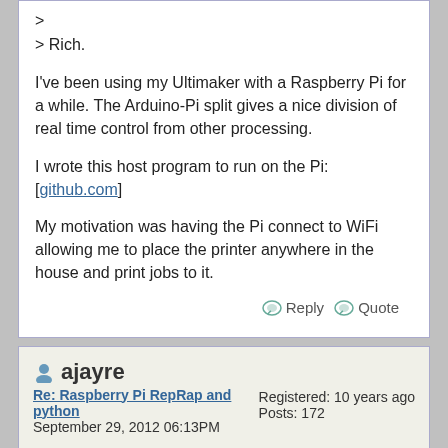>
> Rich.

I've been using my Ultimaker with a Raspberry Pi for a while. The Arduino-Pi split gives a nice division of real time control from other processing.

I wrote this host program to run on the Pi:
[github.com]

My motivation was having the Pi connect to WiFi allowing me to place the printer anywhere in the house and print jobs to it.
Reply  Quote
ajayre
Re: Raspberry Pi RepRap and python
September 29, 2012 06:13PM
Registered: 10 years ago
Posts: 172
I've posted the steps I've used to set up my Raspberry Pi for controlling my printer.